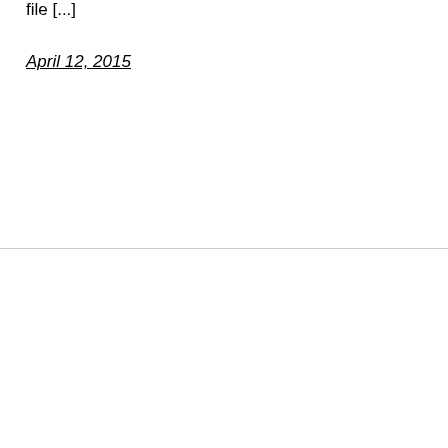file [...]
April 12, 2015
We use cookies on our website to give you the most relevant experience by remembering your preferences and repeat visits. By clicking “Accept”, you consent to the use of ALL the cookies.
Do not sell my personal information.